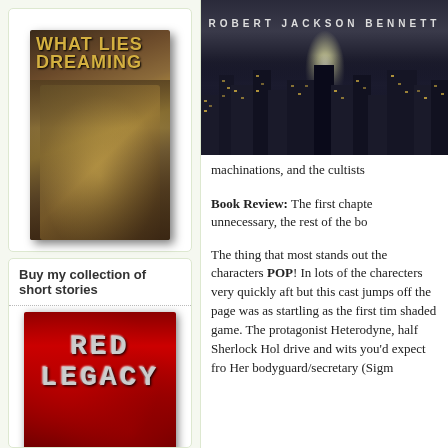[Figure (illustration): Book cover: 'What Lies Dreaming' with dark fantasy art showing apocalyptic scene]
Buy my collection of short stories
[Figure (illustration): Book cover: 'Red Legacy and Other Stories' with red textured background]
[Figure (illustration): Book cover top section with dark cityscape and 'Robert Jackson Bennett' author name]
machinations, and the cultists
Book Review: The first chapter unnecessary, the rest of the bo
The thing that most stands out the characters POP! In lots of the charecters very quickly aft but this cast jumps off the page was as startling as the first tim shaded game. The protagonist Heterodyne, half Sherlock Hol drive and wits you'd expect fro Her bodyguard/secretary (Sigm items of the page's bottom